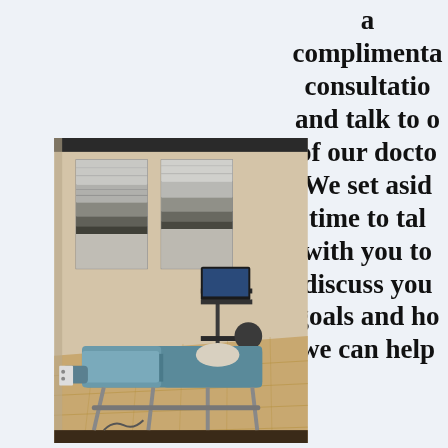a complimentary consultation and talk to one of our doctors. We set aside time to talk with you to discuss your goals and how we can help
[Figure (photo): A chiropractic treatment room with a blue/teal padded adjustment table in the center, a laptop on a stand in the background, a round stool, and two abstract landscape paintings on the beige wall. Hardwood floor.]